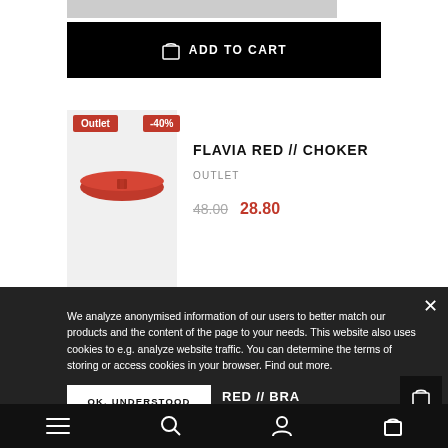[Figure (screenshot): Top portion of a product image (grey placeholder bar)]
ADD TO CART
[Figure (photo): Product card for FLAVIA RED // CHOKER showing a red choker bracelet on light grey background with Outlet and -40% badges]
FLAVIA RED // CHOKER
OUTLET
48.00  28.80
We analyze anonymised information of our users to better match our products and the content of the page to your needs. This website also uses cookies to e.g. analyze website traffic. You can determine the terms of storing or access cookies in your browser. Find out more.
OK, UNDERSTOOD
RED // BRA
Navigation bar with menu, search, account, and cart icons